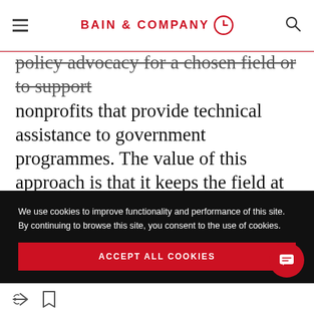BAIN & COMPANY
policy advocacy for a chosen field or to support nonprofits that provide technical assistance to government programmes. The value of this approach is that it keeps the field at the centre and uses finite resources to move the needle in the field as a whole, thus generating a higher social return on philanthropic capital.
We use cookies to improve functionality and performance of this site. By continuing to browse this site, you consent to the use of cookies.
ACCEPT ALL COOKIES